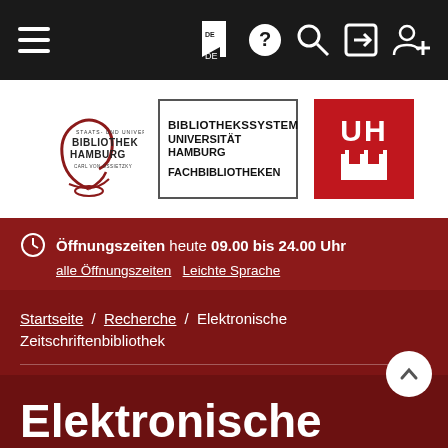Navigation bar with hamburger menu, language (DE), help, search, login, and user icons
[Figure (logo): Staats- und Universitätsbibliothek Hamburg Carl von Ossietzky logo with stylized script mark, Bibliothekssystem Universität Hamburg Fachbibliotheken logo, and Universität Hamburg UH red square logo with Hamburg castle icon]
Öffnungszeiten heute 09.00 bis 24.00 Uhr — alle Öffnungszeiten — Leichte Sprache
Startseite / Recherche / Elektronische Zeitschriftenbibliothek
Elektronische